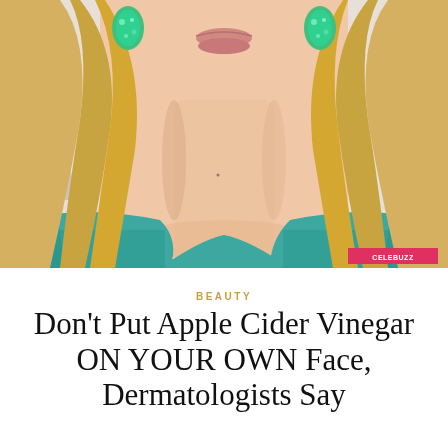[Figure (photo): Close-up photo of a blonde woman wearing green jeweled earrings and a teal/turquoise top, with a CELEBUZZ watermark in the bottom right corner]
BEAUTY
Don't Put Apple Cider Vinegar ON YOUR OWN Face, Dermatologists Say